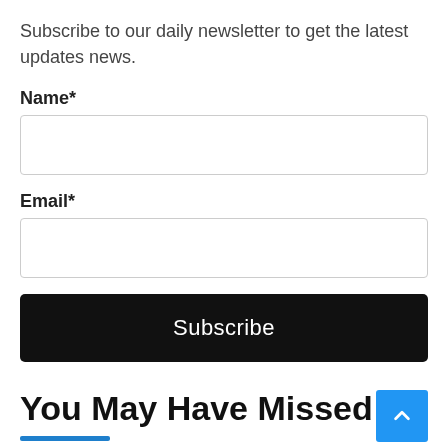Subscribe to our daily newsletter to get the latest updates news.
Name*
Email*
Subscribe
You May Have Missed